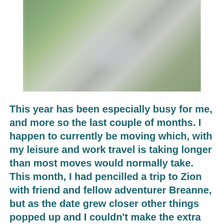[Figure (photo): A blurred outdoor photo showing a waterfall or stream in a forested area with greenery and rocks, with people partially visible]
This year has been especially busy for me, and more so the last couple of months. I happen to currently be moving which, with my leisure and work travel is taking longer than most moves would normally take. This month, I had pencilled a trip to Zion with friend and fellow adventurer Breanne, but as the date grew closer other things popped up and I couldn't make the extra trip S...